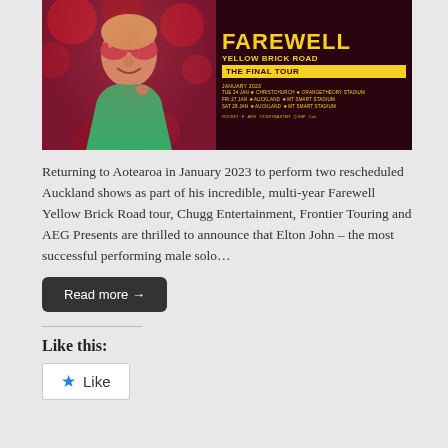[Figure (photo): Elton John Farewell Yellow Brick Road The Final Tour concert poster. Left side shows Elton John wearing pink sparkly sunglasses and a green glittery jacket, laughing, against a floral background. Right side on dark maroon background shows 'FAREWELL YELLOW BRICK ROAD THE FINAL TOUR' text in yellow, with January 2023 dates: TUE 24 JAN - CHRISTCHURCH - ORANGETHEORY STADIUM, FRI 27 JAN - AUCKLAND - MT SMART STADIUM, SAT 28 JAN - AUCKLAND - MT SMART STADIUM, plus sponsor logos.]
Returning to Aotearoa in January 2023 to perform two rescheduled Auckland shows as part of his incredible, multi-year Farewell Yellow Brick Road tour, Chugg Entertainment, Frontier Touring and AEG Presents are thrilled to announce that Elton John – the most successful performing male solo…
Read more →
Like this:
Like